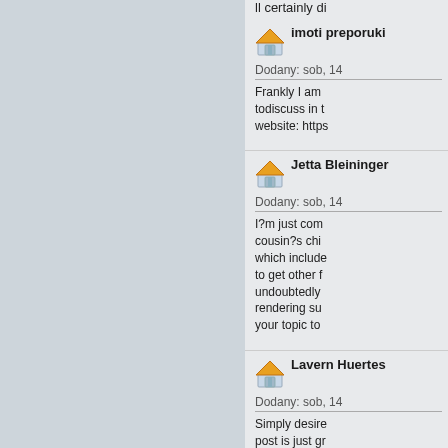ll certainly di
[Figure (illustration): Small house icon with orange roof]
imoti preporuki
Dodany: sob, 14
Frankly I am todiscuss in t website: https
[Figure (illustration): Small house icon with orange roof]
Jetta Bleininger
Dodany: sob, 14
I?m just com cousin?s chi which include to get other f undoubtedly rendering su your topic to
[Figure (illustration): Small house icon with orange roof]
Lavern Huertes
Dodany: sob, 14
Simply desire post is just gr Fine with you to date with f gratifying wo
[Figure (illustration): Small house icon with orange roof]
Sook Goubeaux
Dodany: sob, 14